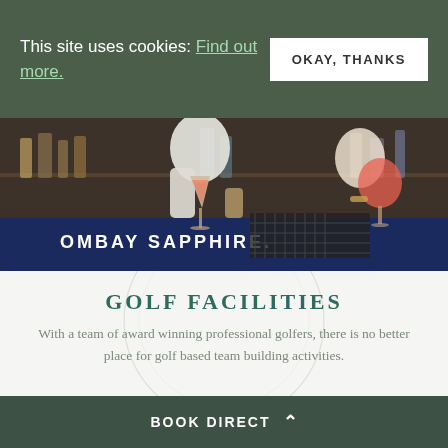This site uses cookies: Find out more. OKAY, THANKS
[Figure (photo): Bar scene showing a bartender in a white shirt holding cocktail glasses, with BOMBAY SAPPHIRE branding visible on the bar mat]
GOLF FACILITIES
With a team of award winning professional golfers, there is no better place for golf based team building activities.
Grab the opportunity for a spot of golf on Wilts... can organise full...
BOOK DIRECT